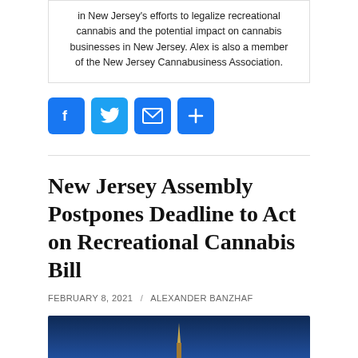in New Jersey's efforts to legalize recreational cannabis and the potential impact on cannabis businesses in New Jersey. Alex is also a member of the New Jersey Cannabusiness Association.
[Figure (other): Four social media sharing buttons: Facebook (f), Twitter (bird), Email (envelope), and More (+), all in blue square icons with rounded corners.]
New Jersey Assembly Postpones Deadline to Act on Recreational Cannabis Bill
FEBRUARY 8, 2021 / ALEXANDER BANZHAF
[Figure (photo): A nighttime photo of a government building with a golden dome or spire lit against a dark blue sky.]